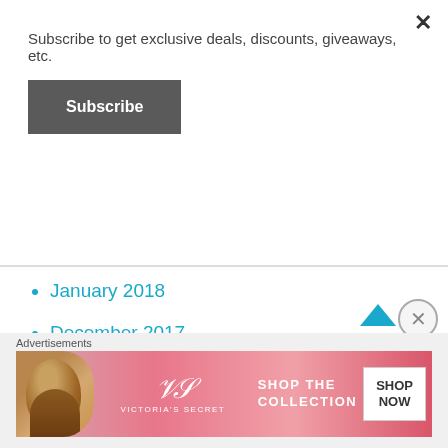Subscribe to get exclusive deals, discounts, giveaways, etc.
Subscribe
January 2018
December 2017
October 2017
September 2017
August 2017
July 2017
June 2017
Advertisements
[Figure (photo): Victoria's Secret advertisement banner with model, logo, and 'SHOP THE COLLECTION / SHOP NOW' text]